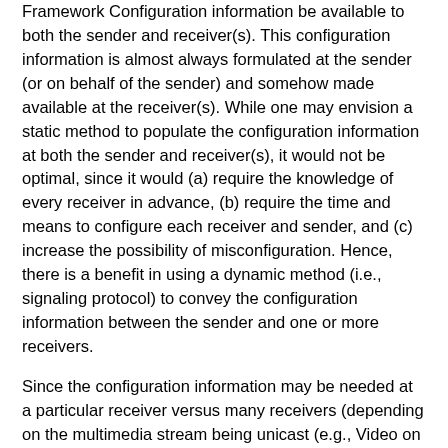Framework Configuration information be available to both the sender and receiver(s). This configuration information is almost always formulated at the sender (or on behalf of the sender) and somehow made available at the receiver(s). While one may envision a static method to populate the configuration information at both the sender and receiver(s), it would not be optimal, since it would (a) require the knowledge of every receiver in advance, (b) require the time and means to configure each receiver and sender, and (c) increase the possibility of misconfiguration. Hence, there is a benefit in using a dynamic method (i.e., signaling protocol) to convey the configuration information between the sender and one or more receivers.
Since the configuration information may be needed at a particular receiver versus many receivers (depending on the multimedia stream being unicast (e.g., Video on Demand (VoD); or multicast, e.g., broadcast or IPTV), we need two types of signaling protocols – one to deliver the configuration information to many receivers via multicasting (as described in Section 5.1), and the other to